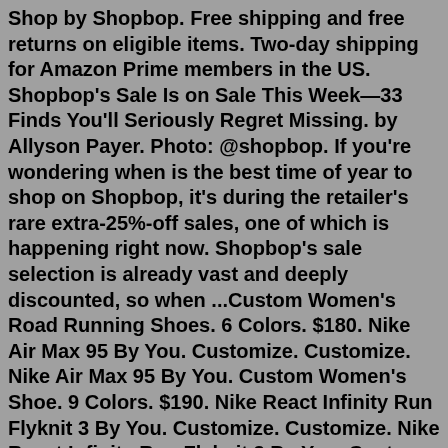Shop by Shopbop. Free shipping and free returns on eligible items. Two-day shipping for Amazon Prime members in the US. Shopbop's Sale Is on Sale This Week—33 Finds You'll Seriously Regret Missing. by Allyson Payer. Photo: @shopbop. If you're wondering when is the best time of year to shop on Shopbop, it's during the retailer's rare extra-25%-off sales, one of which is happening right now. Shopbop's sale selection is already vast and deeply discounted, so when ...Custom Women's Road Running Shoes. 6 Colors. $180. Nike Air Max 95 By You. Customize. Customize. Nike Air Max 95 By You. Custom Women's Shoe. 9 Colors. $190. Nike React Infinity Run Flyknit 3 By You. Customize. Customize. Nike React Infinity Run Flyknit 3 By You. Custom Men's Road Running Shoes. 7 Colors. $180. Nike Waffle One By You.Best Keepsake: LovinCollection Custom Ivory Converse Sneakers. Size Range: 5-11 | Runs: Slightly large | Shipping: $17.75 | Return Policy: Within three days. With satin laces and lace uppers ...Body Glide. $225.00. Men's. Leather The Toe I...